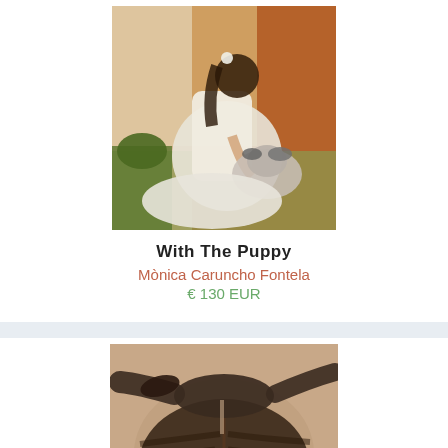[Figure (illustration): Oil painting of a young woman in a white dress kneeling on the floor playing with a puppy dog. Background has warm brown tones, a white wall, green plant, and tiled or wooden floor.]
With The Puppy
Mònica Caruncho Fontela
€ 130 EUR
[Figure (illustration): Close-up painting of a person's head from above, showing dark hair pulled back. A dark animal (dog or puppy) is resting its muzzle on top of the person's head.]